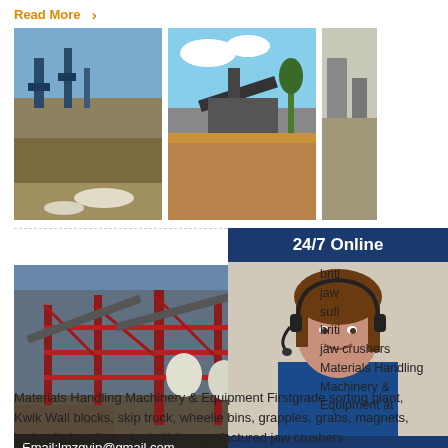Read More ›
[Figure (photo): Three industrial quarry/mining facility photos side by side]
[Figure (photo): Large industrial crushing/processing facility with red steel framework and email overlay: Email:lmzgvip@gmail.com]
[Figure (photo): Customer service agent with headset. Banner: 24/7 Online. Have any requests, click here. Quotation button.]
briti jaw sufi briti jaw crushers Materials Handling Machinery & Equipment at
Materials Handling Machinery & Equipment Firstgrade sorting plant, Kwik Wall blocks, skip truck, wheelie bins, grapples, grabs, magnets, hydraulic handlers viewbritish manufactured jaw crushers